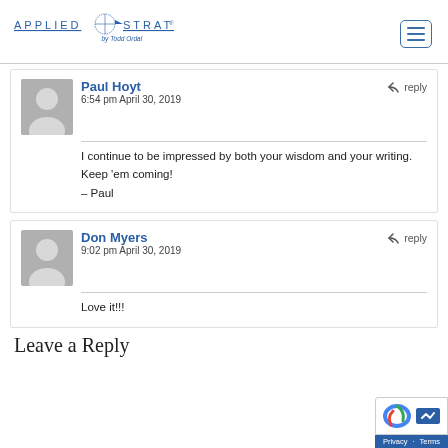Applied Strategy by Todd Ordal
Paul Hoyt
6:54 pm April 30, 2019
I continue to be impressed by both your wisdom and your writing. Keep 'em coming!
– Paul
Don Myers
9:02 pm April 30, 2019
Love it!!!
Leave a Reply